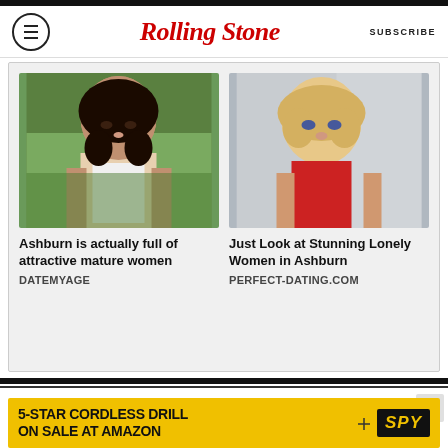Rolling Stone | SUBSCRIBE
[Figure (photo): Advertisement showing photo of brunette woman outdoors with caption 'Ashburn is actually full of attractive mature women' from DATEMYAGE]
[Figure (photo): Advertisement showing photo of blonde woman with caption 'Just Look at Stunning Lonely Women in Ashburn' from PERFECT-DATING.COM]
MORE NEWS
[Figure (photo): Advertisement banner: 5-STAR CORDLESS DRILL ON SALE AT AMAZON | SPY]